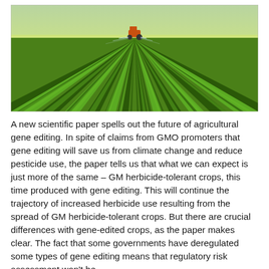[Figure (photo): Aerial/ground-level view of a large agricultural field with rows of green crops stretching to the horizon, with a tractor spraying pesticides in the background under a bright sky.]
A new scientific paper spells out the future of agricultural gene editing. In spite of claims from GMO promoters that gene editing will save us from climate change and reduce pesticide use, the paper tells us that what we can expect is just more of the same – GM herbicide-tolerant crops, this time produced with gene editing. This will continue the trajectory of increased herbicide use resulting from the spread of GM herbicide-tolerant crops. But there are crucial differences with gene-edited crops, as the paper makes clear. The fact that some governments have deregulated some types of gene editing means that regulatory risk assessment won't be